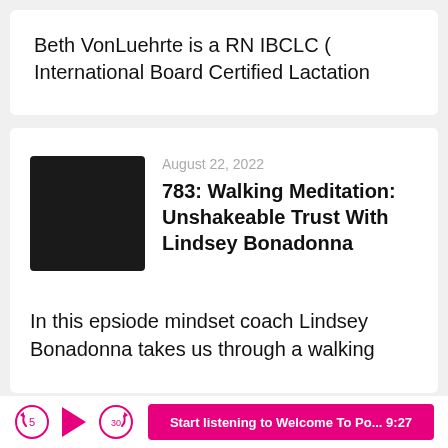Beth VonLuehrte is a RN IBCLC ( International Board Certified Lactation
[Figure (screenshot): Podcast episode thumbnail — dark/black square image]
August 22, 2022
783: Walking Meditation: Unshakeable Trust With Lindsey Bonadonna
In this epsiode mindset coach Lindsey Bonadonna takes us through a walking
Start listening to Welcome To Po... 9:27